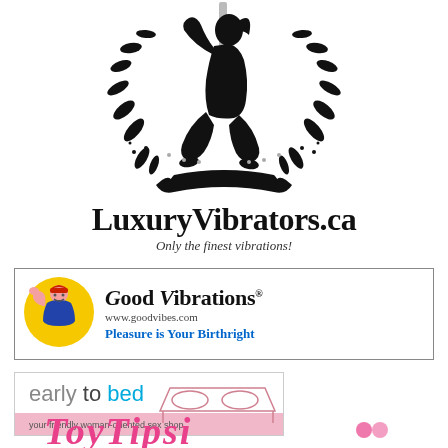[Figure (logo): LuxuryVibrators.ca logo: silhouette of seated female figure with laurel wreath, above brand name and tagline]
[Figure (logo): Good Vibrations logo with Rosie the Riveter yellow circle icon, brand name, website www.goodvibes.com, tagline Pleasure is Your Birthright]
[Figure (logo): Early to Bed logo: brand name in colored text with tagline 'your friendly woman-oriented sex shop' and bed illustration]
[Figure (logo): ToyTipsi logo partially visible at page bottom in pink cursive text]